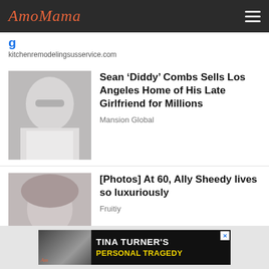AmoMama
kitchenremodelingsusservice.com
[Figure (photo): Photo of Sean 'Diddy' Combs, a man wearing sunglasses and a white jacket]
Sean ‘Diddy’ Combs Sells Los Angeles Home of His Late Girlfriend for Millions
Mansion Global
[Figure (photo): Photo of Ally Sheedy, a woman with curly hair wearing a red outfit]
[Photos] At 60, Ally Sheedy lives so luxuriously
Fruitiy
[Figure (photo): Advertisement banner featuring Tina Turner with text TINA TURNER'S PERSONAL TRAGEDY]